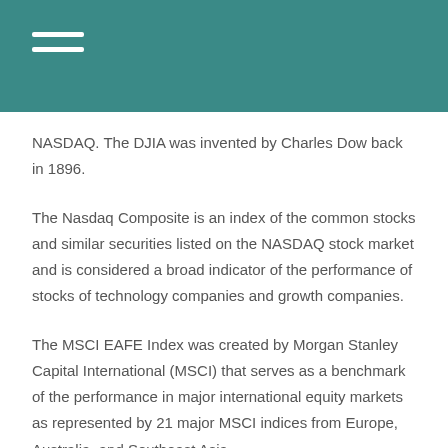NASDAQ. The DJIA was invented by Charles Dow back in 1896.
The Nasdaq Composite is an index of the common stocks and similar securities listed on the NASDAQ stock market and is considered a broad indicator of the performance of stocks of technology companies and growth companies.
The MSCI EAFE Index was created by Morgan Stanley Capital International (MSCI) that serves as a benchmark of the performance in major international equity markets as represented by 21 major MSCI indices from Europe, Australia, and Southeast Asia.
The 10-year Treasury Note represents debt owed by the United States Treasury to the public. Since the U.S. Government is seen as a